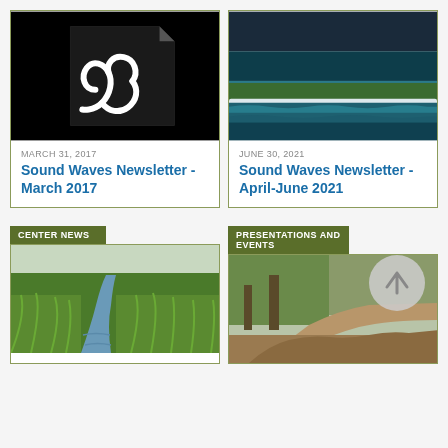[Figure (other): Card with PDF file icon (black background with white Acrobat symbol)]
MARCH 31, 2017
Sound Waves Newsletter - March 2017
[Figure (photo): Aerial photo of ocean waves washing onto a tropical island with blue water and green trees]
JUNE 30, 2021
Sound Waves Newsletter - April-June 2021
CENTER NEWS
[Figure (photo): Photo of a marsh or wetland with green grasses and a small creek]
PRESENTATIONS AND EVENTS
[Figure (photo): Photo of a garden path with trees and rocky landscape]